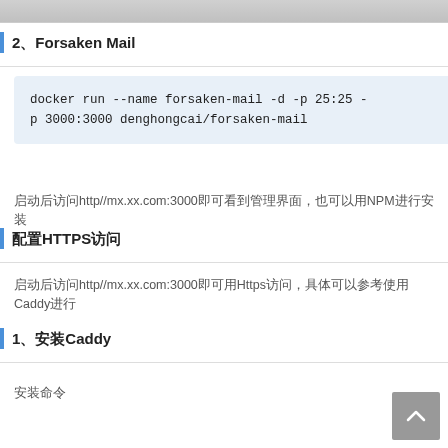[Figure (screenshot): Top cropped image/screenshot strip at the top of the page]
2、Forsaken Mail
docker run --name forsaken-mail -d -p 25:25 -p 3000:3000 denghongcai/forsaken-mail
启动后访问http//mx.xx.com:3000即可看到管理界面，也可以用NPM进行安装
配置HTTPS访问
启动后访问http//mx.xx.com:3000即可用Https访问，具体可以参考使用Caddy进行
1、安装Caddy
安装命令